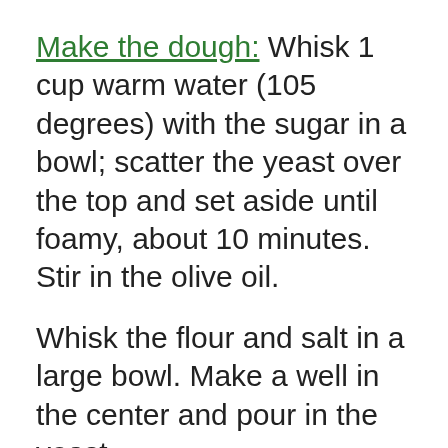Make the dough: Whisk 1 cup warm water (105 degrees) with the sugar in a bowl; scatter the yeast over the top and set aside until foamy, about 10 minutes. Stir in the olive oil.
Whisk the flour and salt in a large bowl. Make a well in the center and pour in the yeast